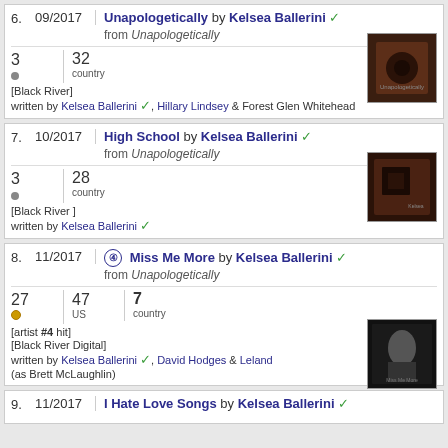6. 09/2017 Unapologetically by Kelsea Ballerini ✓ from Unapologetically | 3 [dot] | 32 country | [Black River] written by Kelsea Ballerini ✓, Hillary Lindsey & Forest Glen Whitehead
7. 10/2017 High School by Kelsea Ballerini ✓ from Unapologetically | 3 [dot] | 28 country | [Black River] written by Kelsea Ballerini ✓
8. 11/2017 ④ Miss Me More by Kelsea Ballerini ✓ from Unapologetically | 27 [dot gold] | 47 US | 7 country | [artist #4 hit] [Black River Digital] written by Kelsea Ballerini ✓, David Hodges & Leland (as Brett McLaughlin)
9. 11/2017 I Hate Love Songs by Kelsea Ballerini ✓